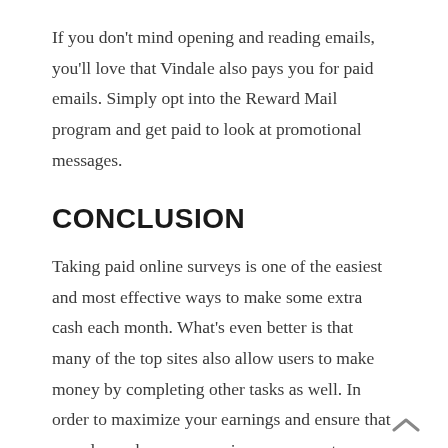If you don't mind opening and reading emails, you'll love that Vindale also pays you for paid emails. Simply opt into the Reward Mail program and get paid to look at promotional messages.
CONCLUSION
Taking paid online surveys is one of the easiest and most effective ways to make some extra cash each month. What's even better is that many of the top sites also allow users to make money by completing other tasks as well. In order to maximize your earnings and ensure that you always have surveys in your queue to complete, consider signing up for several of the online sites. Happy responding and earning!